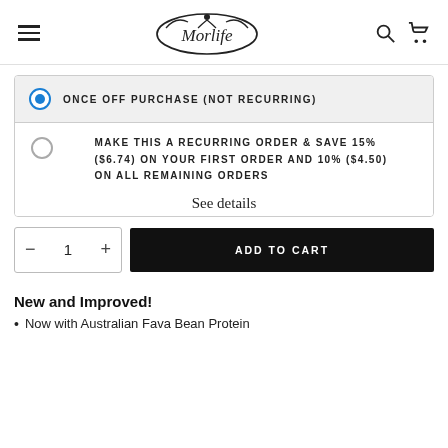Morlife
ONCE OFF PURCHASE (NOT RECURRING)
MAKE THIS A RECURRING ORDER & SAVE 15% ($6.74) ON YOUR FIRST ORDER AND 10% ($4.50) ON ALL REMAINING ORDERS
See details
1
ADD TO CART
New and Improved!
Now with Australian Fava Bean Protein